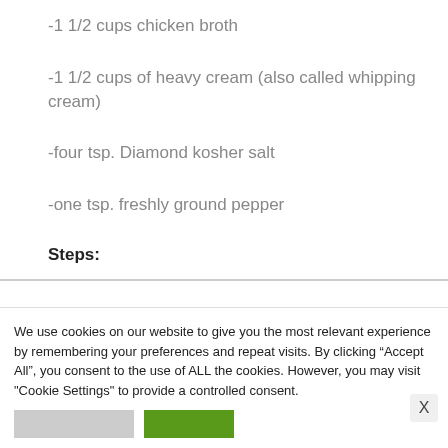-1 1/2 cups chicken broth
-1 1/2 cups of heavy cream (also called whipping cream)
-four tsp. Diamond kosher salt
-one tsp. freshly ground pepper
Steps:
We use cookies on our website to give you the most relevant experience by remembering your preferences and repeat visits. By clicking “Accept All”, you consent to the use of ALL the cookies. However, you may visit "Cookie Settings" to provide a controlled consent.